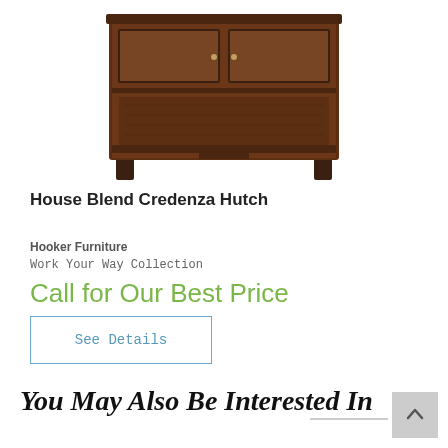[Figure (photo): Photo of a dark espresso brown wooden House Blend Credenza Hutch with glass sliding doors, showing the upper hutch portion of the furniture piece on a white background.]
House Blend Credenza Hutch
Hooker Furniture
Work Your Way Collection
Call for Our Best Price
See Details
You May Also Be Interested In